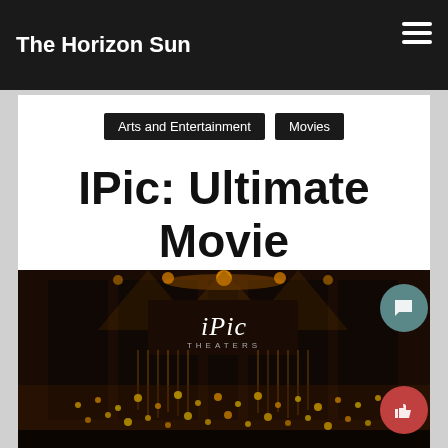The Horizon Sun
Arts and Entertainment | Movies
IPic: Ultimate Movie Experience
[Figure (photo): iPic Theaters lobby interior with illuminated signage reading 'iPic THEATERS', warm golden lighting, decorative string lights, and dark theatrical ambiance]